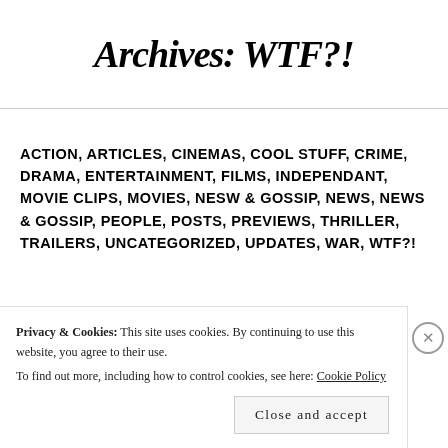Archives: WTF?!
ACTION, ARTICLES, CINEMAS, COOL STUFF, CRIME, DRAMA, ENTERTAINMENT, FILMS, INDEPENDANT, MOVIE CLIPS, MOVIES, NESW & GOSSIP, NEWS, NEWS & GOSSIP, PEOPLE, POSTS, PREVIEWS, THRILLER, TRAILERS, UNCATEGORIZED, UPDATES, WAR, WTF?!
Privacy & Cookies: This site uses cookies. By continuing to use this website, you agree to their use.
To find out more, including how to control cookies, see here: Cookie Policy
Close and accept